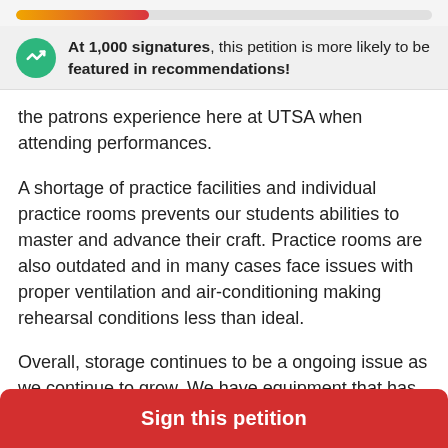[Figure (other): Progress bar showing partial fill from orange to red, approximately 32% filled on a light grey track]
At 1,000 signatures, this petition is more likely to be featured in recommendations!
the patrons experience here at UTSA when attending performances.
A shortage of practice facilities and individual practice rooms prevents our students abilities to master and advance their craft. Practice rooms are also outdated and in many cases face issues with proper ventilation and air-conditioning making rehearsal conditions less than ideal.
Overall, storage continues to be a ongoing issue as we continue to grow. We have equipment that has no proper storage which makes it undesirable for items to
Sign this petition